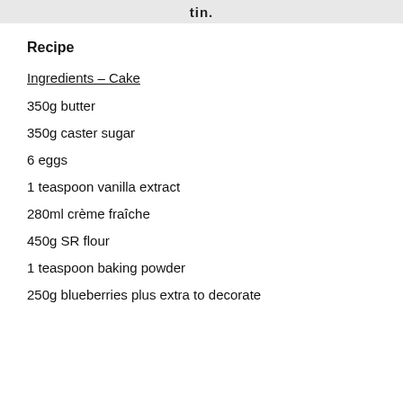tin.
Recipe
Ingredients – Cake
350g butter
350g caster sugar
6 eggs
1 teaspoon vanilla extract
280ml crème fraîche
450g SR flour
1 teaspoon baking powder
250g blueberries plus extra to decorate